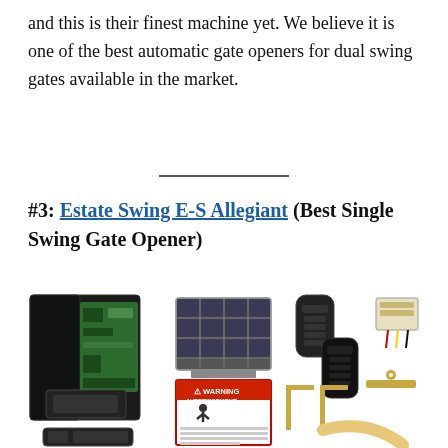and this is their finest machine yet. We believe it is one of the best automatic gate openers for dual swing gates available in the market.
#3: Estate Swing E-S Allegiant (Best Single Swing Gate Opener)
[Figure (photo): Product photo of the Estate Swing E-S Allegiant gate opener kit, showing the control box with electronics, a solar panel, two remote controls, a warning label, mounting brackets, hardware, and an arm component, all on a white background.]